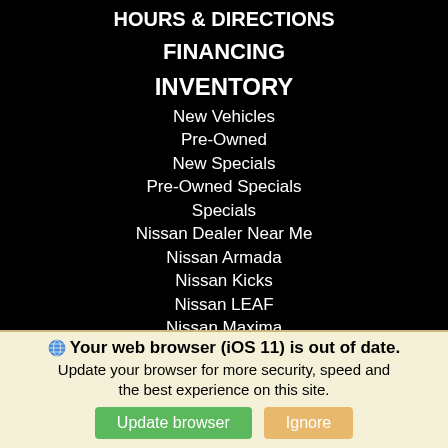HOURS & DIRECTIONS
FINANCING
INVENTORY
New Vehicles
Pre-Owned
New Specials
Pre-Owned Specials
Specials
Nissan Dealer Near Me
Nissan Armada
Nissan Kicks
Nissan LEAF
Nissan Maxima
Nissan Murano
Nissan Pathfinder
Nissan Rogue
Your web browser (iOS 11) is out of date. Update your browser for more security, speed and the best experience on this site.